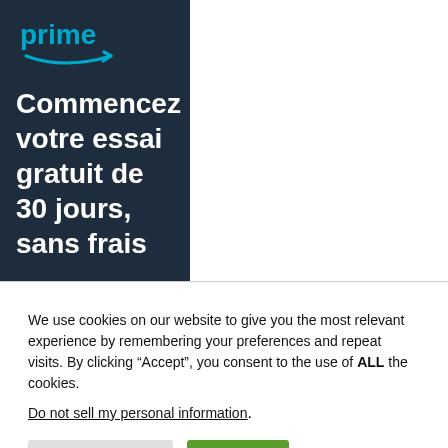[Figure (logo): Amazon Prime logo with 'prime' text in teal/blue and Amazon smile arrow beneath, on dark navy background]
Commencez votre essai gratuit de 30 jours, sans frais
We use cookies on our website to give you the most relevant experience by remembering your preferences and repeat visits. By clicking “Accept”, you consent to the use of ALL the cookies.
Do not sell my personal information.
Cookie Settings | Accept